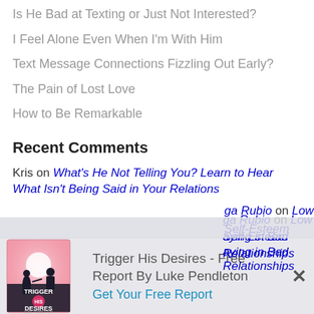Is He Bad at Texting or Just Not Interested?
I Feel Alone Even When I'm With Him
Text Message Connections Fizzling Out Early?
The Pain of Lost Love
How to Be Remarkable
Recent Comments
Kris on What's He Not Telling You? Learn to Hear What Isn't Being Said in Your Relations
ga Rubio on Low Self-Esteem aying in Bad Relationships
[Figure (other): Book cover for 'Trigger His Desires' by Luke Pendleton, pink cover with silhouettes of a man and woman]
Trigger His Desires - Free Report By Luke Pendleton
Get Your Free Report